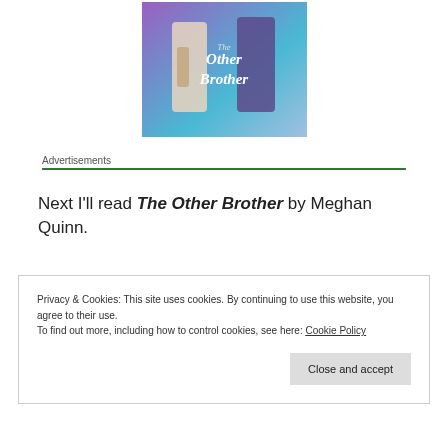[Figure (illustration): Book cover of 'The Other Brother' showing two people, one with tattoos, with purple/blue background and cursive title text]
Advertisements
Next I'll read The Other Brother by Meghan Quinn.
Privacy & Cookies: This site uses cookies. By continuing to use this website, you agree to their use.
To find out more, including how to control cookies, see here: Cookie Policy
Close and accept